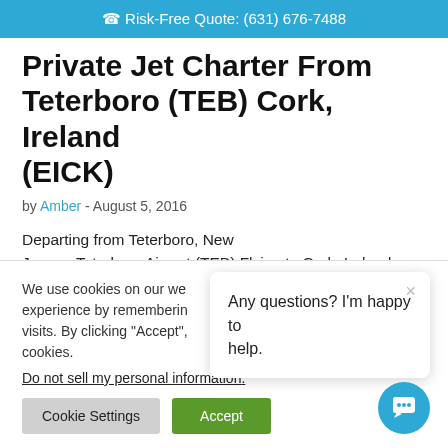Risk-Free Quote: (631) 676-7488
Private Jet Charter From Teterboro (TEB) Cork, Ireland (EICK)
by Amber - August 5, 2016
Departing from Teterboro, New Jersey: Teterboro Airport (TEB) Flying to Cork, Ireland: Cork Airport (EICK) Average flying time: 6 hours, 44
We use cookies on our we experience by rememberin visits. By clicking "Accept", cookies.
Do not sell my personal information.
Any questions? I'm happy to help.